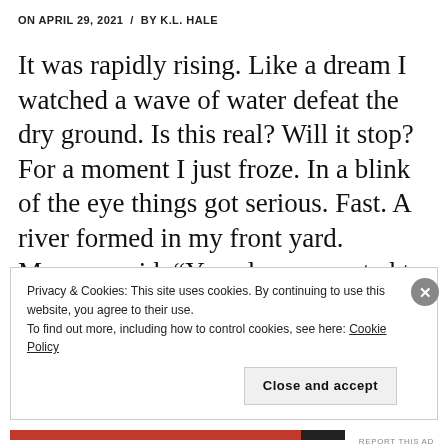ON APRIL 29, 2021  /  BY K.L. HALE
It was rapidly rising. Like a dream I watched a wave of water defeat the dry ground. Is this real? Will it stop? For a moment I just froze. In a blink of the eye things got serious. Fast. A river formed in my front yard. Momma said, “You always wanted to live by the river.”
Privacy & Cookies: This site uses cookies. By continuing to use this website, you agree to their use.
To find out more, including how to control cookies, see here: Cookie Policy

Close and accept